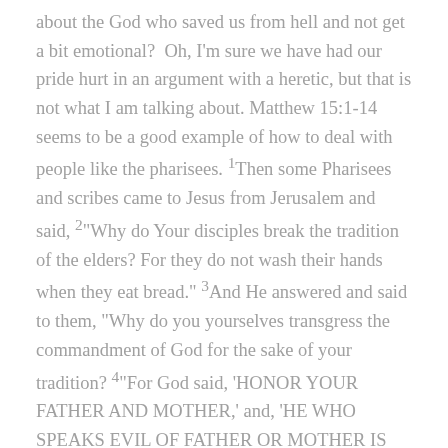about the God who saved us from hell and not get a bit emotional? Oh, I'm sure we have had our pride hurt in an argument with a heretic, but that is not what I am talking about. Matthew 15:1-14 seems to be a good example of how to deal with people like the pharisees. 1Then some Pharisees and scribes came to Jesus from Jerusalem and said, 2"Why do Your disciples break the tradition of the elders? For they do not wash their hands when they eat bread." 3And He answered and said to them, "Why do you yourselves transgress the commandment of God for the sake of your tradition? 4"For God said, 'HONOR YOUR FATHER AND MOTHER,' and, 'HE WHO SPEAKS EVIL OF FATHER OR MOTHER IS TO BE PUT TO DEATH.' 5"But you say, 'Whoever says to his father or mother, "Whatever I have that would help you has been given to God," 6he is not to honor his father or his mother.' And by this you invalidated the word of God for the sake of your tradition. 7"You hypocrites, rightly did